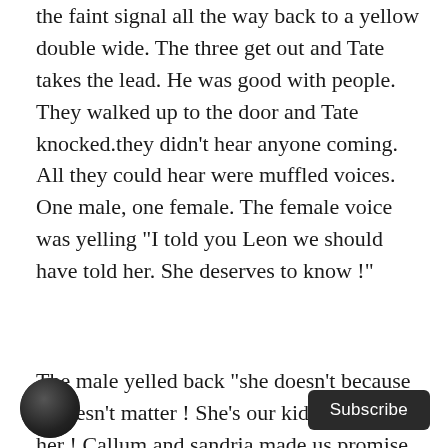they finally pulled up to the trailer park and used the faint signal all the way back to a yellow double wide. The three get out and Tate takes the lead. He was good with people. They walked up to the door and Tate knocked.they didn't hear anyone coming. All they could hear were muffled voices. One male, one female. The female voice was yelling "I told you Leon we should have told her. She deserves to know !"
The male yelled back "she doesn't because it doesn't matter ! She's our kid ! We raised her ! Callum and sandria made us promise that we didn't tell her as well. They are our friends. Do you plan on breaking
[Figure (photo): Small circular avatar image showing a dark silhouette/photo at bottom left]
Subscribe